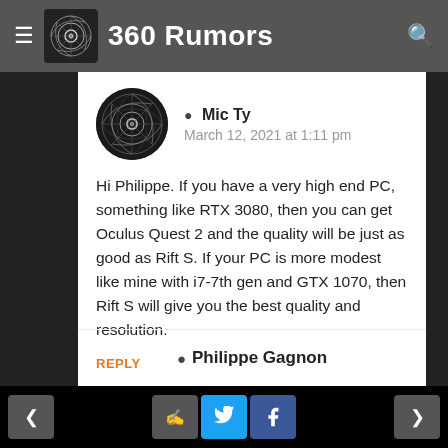360 Rumors
Mic Ty
March 12, 2021 at 1:11 pm
Hi Philippe. If you have a very high end PC, something like RTX 3080, then you can get Oculus Quest 2 and the quality will be just as good as Rift S. If your PC is more modest like mine with i7-7th gen and GTX 1070, then Rift S will give you the best quality and resolution.
REPLY
Philippe Gagnon
< | comment | twitter | facebook | >